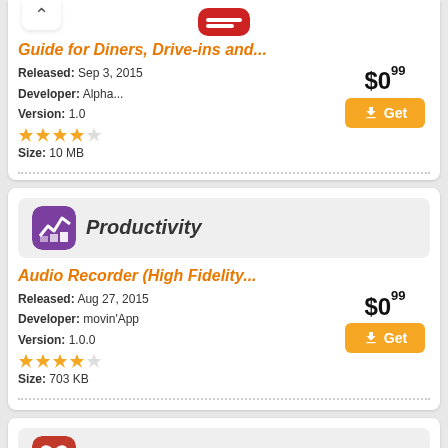[Figure (screenshot): App store listing page showing multiple app categories and apps for download]
Guide for Diners, Drive-ins and...
Released: Sep 3, 2015 | Developer: Alpha... | Version: 1.0 | Size: 10 MB | Price: $0.99
Productivity
Audio Recorder (High Fidelity...
Released: Aug 27, 2015 | Developer: movin'App | Version: 1.0.0 | Size: 703 KB | Price: $0.99
Health-Fitness
Sit – a beautiful,...
Released: Sep 3, 2015